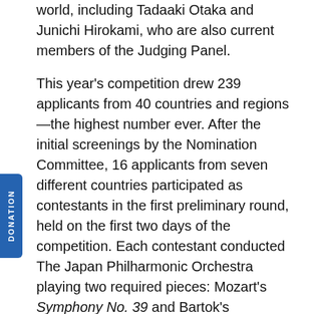world, including Tadaaki Otaka and Junichi Hirokami, who are also current members of the Judging Panel.
This year's competition drew 239 applicants from 40 countries and regions—the highest number ever. After the initial screenings by the Nomination Committee, 16 applicants from seven different countries participated as contestants in the first preliminary round, held on the first two days of the competition. Each contestant conducted The Japan Philharmonic Orchestra playing two required pieces: Mozart's Symphony No. 39 and Bartok's Divertimento for String Orchestra, in front of a panel of judges and a public audience.
In the second round, after two full days of performances by the selected eight contestants, who conducted the internationally acclaimed New